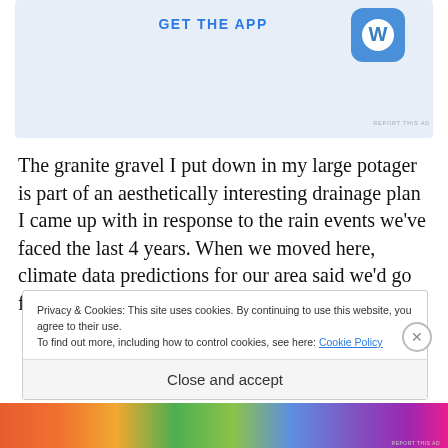[Figure (other): App advertisement banner with 'GET THE APP' text and WordPress logo icon on light blue background]
REPORT THIS AD
The granite gravel I put down in my large potager is part of an aesthetically interesting drainage plan I came up with in response to the rain events we've faced the last 4 years. When we moved here, climate data predictions for our area said we'd go from a [text continues] a [text continues]
Privacy & Cookies: This site uses cookies. By continuing to use this website, you agree to their use.
To find out more, including how to control cookies, see here: Cookie Policy
Close and accept
[Figure (other): Colorful decorative bottom banner strip]